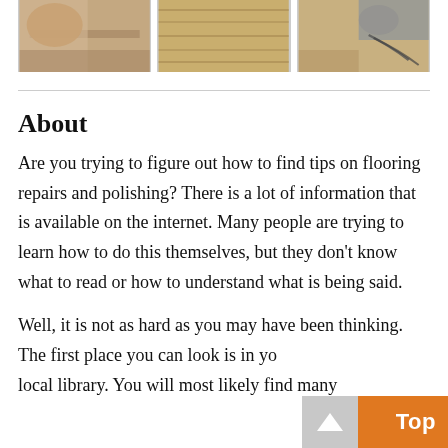[Figure (photo): Three photos of flooring: close-up of floor boards, angled view of wooden floor, and floor with equipment/cords.]
About
Are you trying to figure out how to find tips on flooring repairs and polishing? There is a lot of information that is available on the internet. Many people are trying to learn how to do this themselves, but they don't know what to read or how to understand what is being said.
Well, it is not as hard as you may have been thinking. The first place you can look is in your local library. You will most likely find many